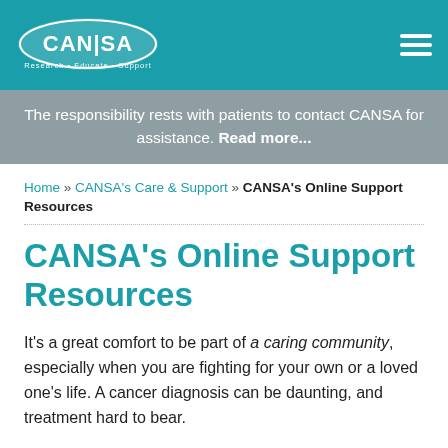CANSA — Research • Educate • Support
The responsibility rests with patients to contact CANSA for assistance. Read more...
Home » CANSA's Care & Support » CANSA's Online Support Resources
CANSA's Online Support Resources
It's a great comfort to be part of a caring community, especially when you are fighting for your own or a loved one's life. A cancer diagnosis can be daunting, and treatment hard to bear.